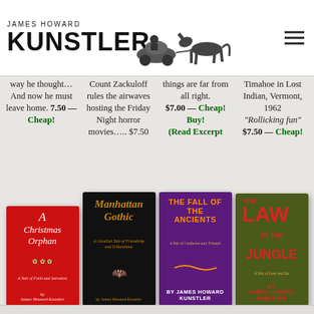JAMES HOWARD KUNSTLER
way he thought… And now he must leave home. 7.50 — Cheap!
Count Zackuloff rules the airwaves hosting the Friday Night horror movies….. $7.50
things are far from all right. $7.00 — Cheap! Buy! (Read Excerpt
Timahoe in Lost Indian, Vermont, 1962 "Rollicking fun" $7.50 — Cheap!
[Figure (illustration): Book cover: A Christmas Orphan, red background, white italic text, holly decoration, by James Howard Kunstler]
[Figure (illustration): Book cover: Manhattan Gothic, black background, orange gothic text, bat illustration, by James Howard Kunstler]
[Figure (illustration): Book cover: The Fall of the Ancients, purple background, orange bold text, by James Howard Kunstler]
[Figure (illustration): Book cover: The Law of the Jungle, olive green background, red bold text, by James Howard Kunstler]